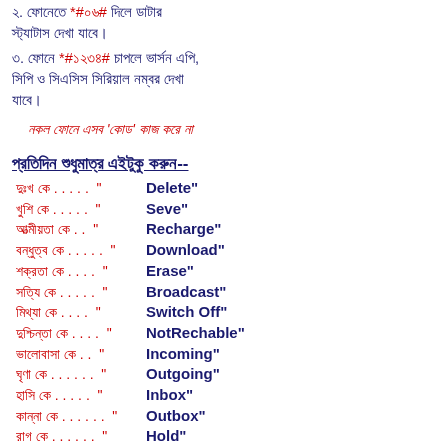২. ফোনেতে *#০৬# দিলে ডাটার স্ট্যাটাস দেখা যাবে।
৩. ফোনে *#১২৩৪# চাপলে ভার্সন এপি, সিপি ও সিএসিস সিরিয়াল নম্বর দেখা যাবে।
নকল ফোনে এসব 'কোড' কাজ করে না
প্রতিদিন শুধুমাত্র এইটুকু করুন--
দুঃখ কে . . . . . " Delete"
খুশি কে . . . . . " Seve"
আত্মীয়তা কে . . " Recharge"
বন্ধুত্ব কে . . . . . " Download"
শক্রতা কে . . . . " Erase"
সতি্য কে . . . . . " Broadcast"
মিথ্যা কে . . . . " Switch Off"
দুশ্চিন্তা কে . . . . " NotRechable"
ভালোবাসা কে . . " Incoming"
ঘৃণা কে . . . . . . " Outgoing"
হাসি কে . . . . . " Inbox"
কান্না কে . . . . . . " Outbox"
রাগ কে . . . . . . " Hold"
মৃদুহাসি কে . . . " Send"
সাহাসহায়তা কে - " OK"
ছদ্ম কে . . . . . " Vibrate"
তারপর দেখুন জীবলের" RINGTONE " কেমল মধুর শুরে বেজে ওঠে. ......